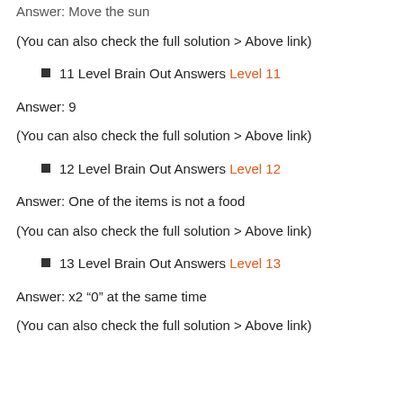Answer: Move the sun
(You can also check the full solution > Above link)
11 Level Brain Out Answers Level 11
Answer: 9
(You can also check the full solution > Above link)
12 Level Brain Out Answers Level 12
Answer: One of the items is not a food
(You can also check the full solution > Above link)
13 Level Brain Out Answers Level 13
Answer: x2 “0” at the same time
(You can also check the full solution > Above link)